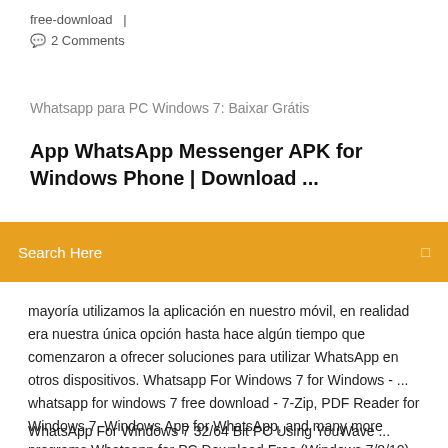free-download  |  💬 2 Comments
Whatsapp para PC Windows 7: Baixar Grátis
App WhatsApp Messenger APK for Windows Phone | Download ...
Search Here
mayoría utilizamos la aplicación en nuestro móvil, en realidad era nuestra única opción hasta hace algún tiempo que comenzaron a ofrecer soluciones para utilizar WhatsApp en otros dispositivos. Whatsapp For Windows 7 for Windows - ... whatsapp for windows 7 free download - 7-Zip, PDF Reader for Windows 7, Windows App for WhatsApp, and many more programs Whatsapp for PC Download Free (Windows 7/8/10)
WhatsApp For Windows 7 32/64 Bit PC Using YouWave ... Here,